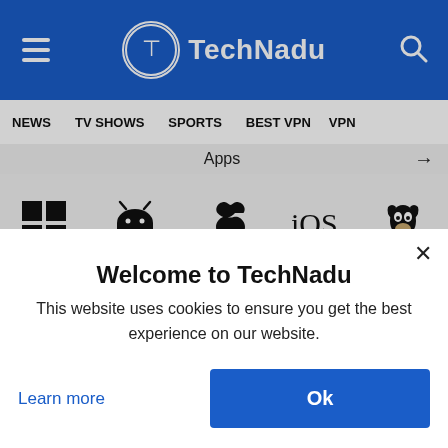TechNadu
NEWS  TV SHOWS  SPORTS  BEST VPN  VPN
Apps →
[Figure (infographic): Platform icons row: Windows, Android, Apple/macOS, iOS, Linux]
| Parallel Connections | Live Chat |
| --- | --- |
| 6 | Yes |
Welcome to TechNadu
This website uses cookies to ensure you get the best experience on our website.
Learn more
Ok